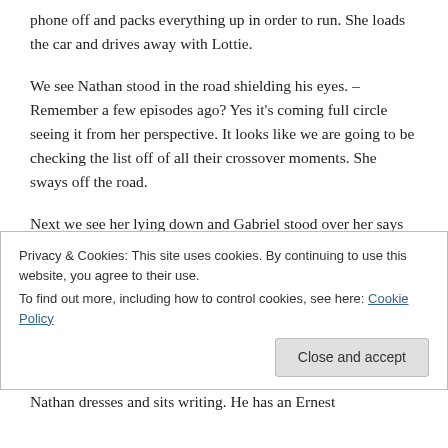phone off and packs everything up in order to run. She loads the car and drives away with Lottie.
We see Nathan stood in the road shielding his eyes. – Remember a few episodes ago? Yes it's coming full circle seeing it from her perspective. It looks like we are going to be checking the list off of all their crossover moments. She sways off the road.
Next we see her lying down and Gabriel stood over her says 'Daddy's coming' – Is she dead? Probably. She asks what Gabriel means. Well its obvious but
Privacy & Cookies: This site uses cookies. By continuing to use this website, you agree to their use.
To find out more, including how to control cookies, see here: Cookie Policy
Nathan dresses and sits writing. He has an Ernest